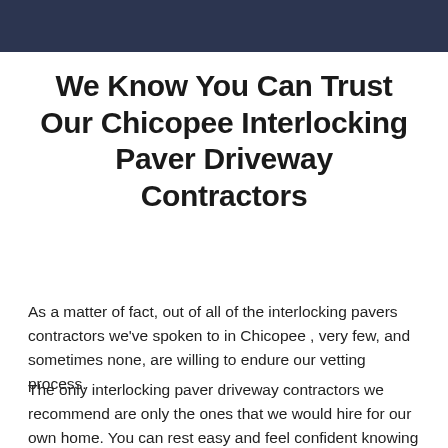[Figure (photo): Dark banner image at top of page, appears to show a paving or outdoor scene with a dark navy/blue-gray overlay.]
We Know You Can Trust Our Chicopee Interlocking Paver Driveway Contractors
As a matter of fact, out of all of the interlocking pavers contractors we've spoken to in Chicopee , very few, and sometimes none, are willing to endure our vetting process.
The only interlocking paver driveway contractors we recommend are only the ones that we would hire for our own home. You can rest easy and feel confident knowing that we're here to help you